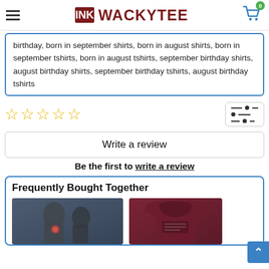WACKYTEE
birthday, born in september shirts, born in august shirts, born in september tshirts, born in august tshirts, september birthday shirts, august birthday shirts, september birthday tshirts, august birthday tshirts
★★★★★ (0 stars) — filter icon
Write a review
Be the first to write a review
Frequently Bought Together
[Figure (photo): Two hooded figures in a dark fantasy/gothic style on a t-shirt product image]
[Figure (photo): Dark red/maroon hoodie product image]